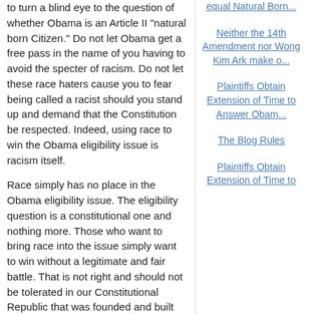to turn a blind eye to the question of whether Obama is an Article II "natural born Citizen." Do not let Obama get a free pass in the name of you having to avoid the specter of racism. Do not let these race haters cause you to fear being called a racist should you stand up and demand that the Constitution be respected. Indeed, using race to win the Obama eligibility issue is racism itself.
Race simply has no place in the Obama eligibility issue. The eligibility question is a constitutional one and nothing more. Those who want to bring race into the issue simply want to win without a legitimate and fair battle. That is not right and should not be tolerated in our Constitutional Republic that was founded and built on the rule of law and due process.
Many who supported Obama's run for the Presidency said that Obama would be a unifying force for American race relations. Frankly, from everything that I have seen so far, I think quite the opposite has occurred in our country.
Mario Apuzzo, Esq.
equal Natural Born...
Neither the 14th Amendment nor Wong Kim Ark make o...
Plaintiffs Obtain Extension of Time to Answer Obam...
The Blog Rules
Plaintiffs Obtain Extension of Time to